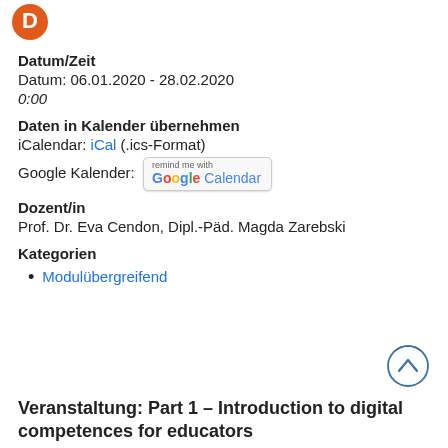[Figure (logo): Orange circular logo / partial icon in top-left corner]
Datum/Zeit
Datum: 06.01.2020 - 28.02.2020
0:00
Daten in Kalender übernehmen
iCalendar: iCal (.ics-Format)
Google Kalender: [remind me with Google Calendar button]
Dozent/in
Prof. Dr. Eva Cendon, Dipl.-Päd. Magda Zarebski
Kategorien
Modulübergreifend
[Figure (other): Scroll-to-top arrow button (circle with chevron up)]
Veranstaltung: Part 1 – Introduction to digital competences for educators